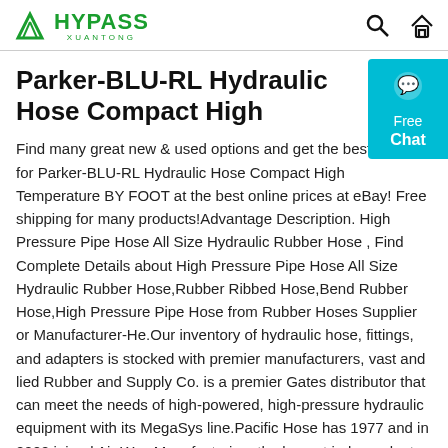HYPASS XUANTONG — header with search and home icons
Parker-BLU-RL Hydraulic Hose Compact High
Find many great new & used options and get the best deals for Parker-BLU-RL Hydraulic Hose Compact High Temperature BY FOOT at the best online prices at eBay! Free shipping for many products!Advantage Description. High Pressure Pipe Hose All Size Hydraulic Rubber Hose , Find Complete Details about High Pressure Pipe Hose All Size Hydraulic Rubber Hose,Rubber Ribbed Hose,Bend Rubber Hose,High Pressure Pipe Hose from Rubber Hoses Supplier or Manufacturer-He.Our inventory of hydraulic hose, fittings, and adapters is stocked with premier manufacturers, vast and lied Rubber and Supply Co. is a premier Gates distributor that can meet the needs of high-powered, high-pressure hydraulic equipment with its MegaSys line.Pacific Hose has 1977 and in 2002 joined Air-Way Manufacturing, the largest independent manufacturer of hydraulic adapters in North Ame but with global resources, giving us access to manufacturing in the U.S. , Europe, and Asia. Air-Way Canada specializes in hydraulic hose ...
[Figure (other): Free Chat widget — cyan/teal rectangle with chat bubble icon, text 'Free Chat']